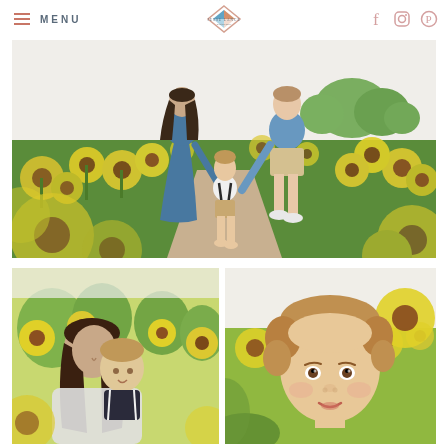MENU — Jesse Lance Photography
[Figure (photo): Family of three (mother in blue dress, father in blue shirt and khaki shorts, toddler boy in suspenders) walking down a dirt path through a sunflower field]
[Figure (photo): Mother holding toddler boy in a sunflower field, both smiling and looking down]
[Figure (photo): Close-up portrait of a young toddler boy with curly red-brown hair among sunflowers]